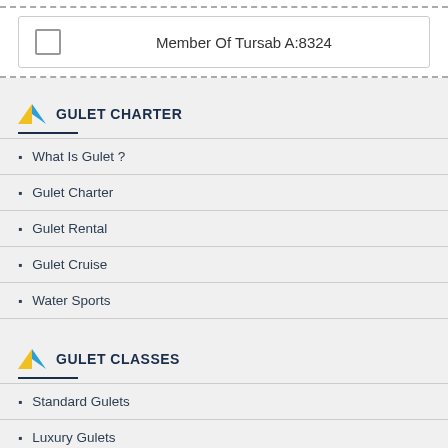Member Of Tursab A:8324
GULET CHARTER
What Is Gulet ?
Gulet Charter
Gulet Rental
Gulet Cruise
Water Sports
GULET CLASSES
Standard Gulets
Luxury Gulets